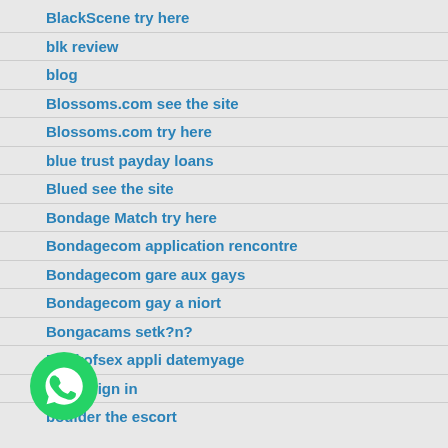BlackScene try here
blk review
blog
Blossoms.com see the site
Blossoms.com try here
blue trust payday loans
Blued see the site
Bondage Match try here
Bondagecom application rencontre
Bondagecom gare aux gays
Bondagecom gay a niort
Bongacams setk?n?
Bookofsex appli datemyage
ofsex sign in
boulder the escort
[Figure (logo): WhatsApp green circle logo with white phone handset icon]